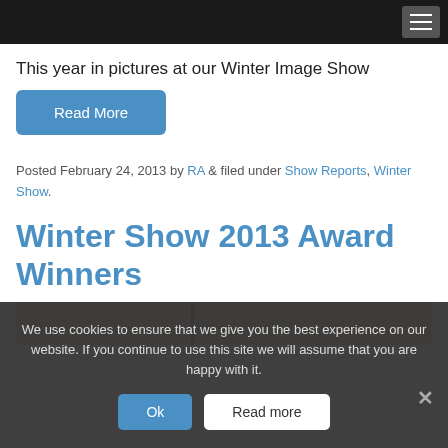This year in pictures at our Winter Image Show
Read More
Posted February 24, 2013 by RA & filed under Show Reports, Winter Show.
Winter Show 2013 Award Winners
[Figure (photo): Partial photo strip showing wooden/tan tones with dark vertical divider]
We use cookies to ensure that we give you the best experience on our website. If you continue to use this site we will assume that you are happy with it.
Ok  Read more